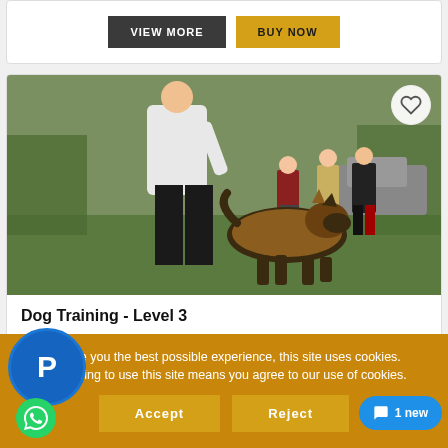[Figure (screenshot): Top card with VIEW MORE (dark button) and BUY NOW (gold button)]
[Figure (photo): Dog training photo: person in white jacket and black pants walking with a German Shepherd dog on a green lawn, people in background]
Dog Training - Level 3
[Figure (other): Star rating: 4 out of 5 stars (gold) for Dog Training - Level 3]
To give you the best possible experience, this site uses cookies. Continuing to use this site means you agree to our use of cookies.
Accept
Reject
[Figure (logo): PayPal circular badge (blue) with P letter]
[Figure (logo): WhatsApp green circle icon]
1 new